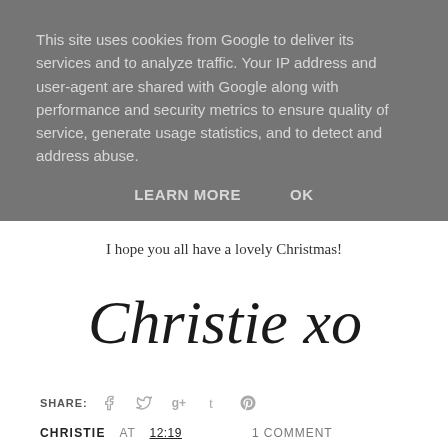This site uses cookies from Google to deliver its services and to analyze traffic. Your IP address and user-agent are shared with Google along with performance and security metrics to ensure quality of service, generate usage statistics, and to detect and address abuse.
LEARN MORE   OK
I hope you all have a lovely Christmas!
[Figure (illustration): Handwritten cursive signature reading 'Christie xo']
SHARE:
CHRISTIE AT 12:19
1 COMMENT
SHARE